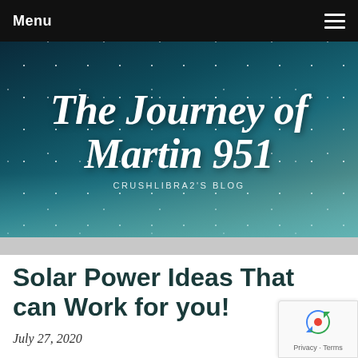Menu
[Figure (screenshot): Blog hero banner with dark teal starry night sky background. Large cursive white text reads 'The Journey of Martin 951' with subtitle 'CRUSHLIBRA2'S BLOG']
Solar Power Ideas That can Work for you!
July 27, 2020